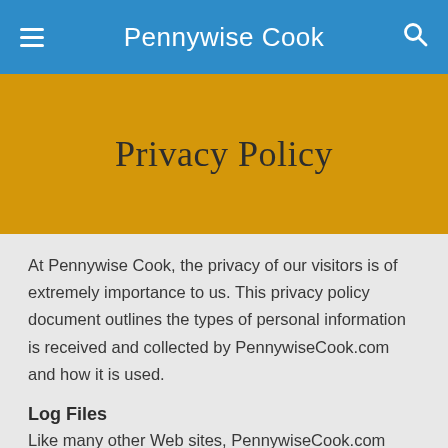Pennywise Cook
Privacy Policy
At Pennywise Cook, the privacy of our visitors is of extremely importance to us. This privacy policy document outlines the types of personal information is received and collected by PennywiseCook.com and how it is used.
Log Files
Like many other Web sites, PennywiseCook.com makes use of log files. The information inside the log files includes internet protocol ( IP ) addresses, type of browser, Internet Service Provider ( ISP ), date/time stamp, referring/exit